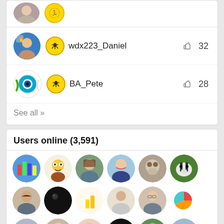wdx223_Daniel — 32 likes
BA_Pete — 28 likes
See all »
Users online (3,591)
[Figure (other): Grid of 18+ circular user avatar photos showing online users]